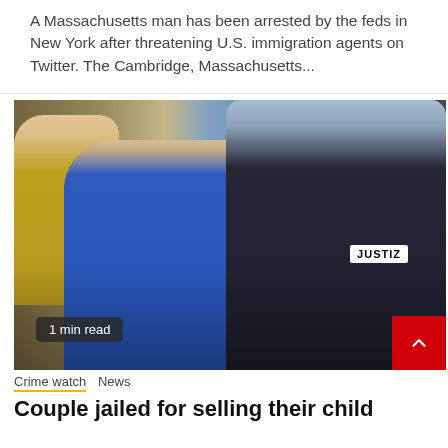A Massachusetts man has been arrested by the feds in New York after threatening U.S. immigration agents on Twitter. The Cambridge, Massachusetts...
[Figure (photo): A woman in a blue shirt is being led by a police officer wearing a 'JUSTIZ' vest. An elderly man in a yellow shirt is visible in the background. Faces are pixelated/blurred.]
1 min read
Crime watch  News
Couple jailed for selling their child